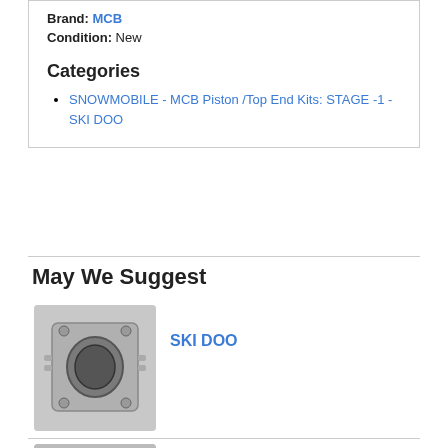Brand: MCB
Condition: New
Categories
SNOWMOBILE - MCB Piston /Top End Kits: STAGE -1 - SKI DOO
May We Suggest
[Figure (photo): Photo of a snowmobile engine cylinder]
SKI DOO
[Figure (photo): Photo of crank seals and isoflex grease set with bottles and rubber seals]
SKI DOO CRANK SEALS & ISOFLEX GREASE SET